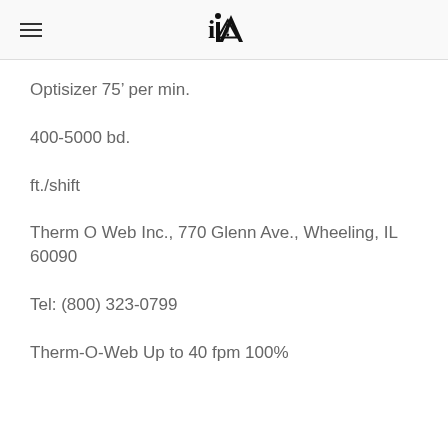iA
Optisizer 75’ per min.
400-5000 bd.
ft./shift
Therm O Web Inc., 770 Glenn Ave., Wheeling, IL 60090
Tel: (800) 323-0799
Therm-O-Web Up to 40 fpm 100%